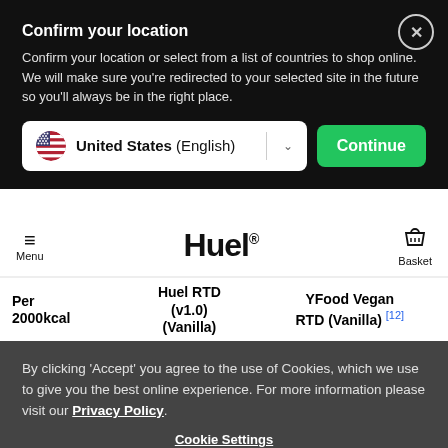Confirm your location
Confirm your location or select from a list of countries to shop online. We will make sure you're redirected to your selected site in the future so you'll always be in the right place.
United States (English) — Continue
Menu | Huel® | Basket
| Per 2000kcal | Huel RTD (v1.0) (Vanilla) | YFood Vegan RTD (Vanilla) [12] |
| --- | --- | --- |
| Protein (g) | 100 | 104 |
| Fibre (g) | 29 | 37 |
| Fat (g) | 93 | 96 |
| Sugar (g) | 22 |  |
By clicking 'Accept' you agree to the use of Cookies, which we use to give you the best online experience. For more information please visit our Privacy Policy.
Cookie Settings
Accept